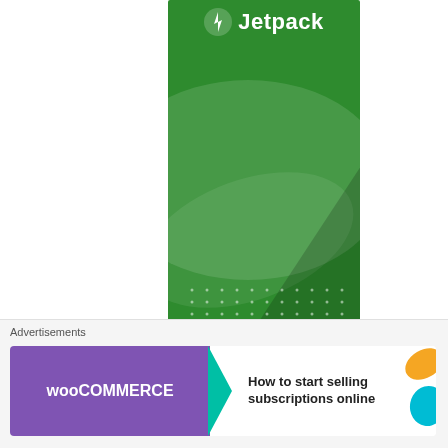[Figure (illustration): Jetpack advertisement banner — green background with white Jetpack logo (lightning bolt icon + 'Jetpack' text), decorative ellipses and dot grid pattern, text 'The best' at bottom]
Advertisements
[Figure (illustration): WooCommerce advertisement banner — purple left panel with WooCommerce logo, teal arrow pointing right, white right panel with text 'How to start selling subscriptions online', decorative orange and teal leaf/circle shapes on far right]